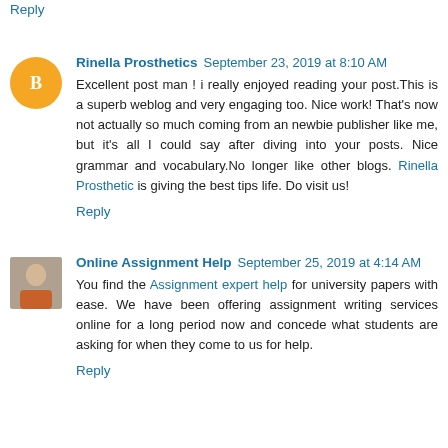Reply
Rinella Prosthetics  September 23, 2019 at 8:10 AM
Excellent post man ! i really enjoyed reading your post.This is a superb weblog and very engaging too. Nice work! That's now not actually so much coming from an newbie publisher like me, but it's all I could say after diving into your posts. Nice grammar and vocabulary.No longer like other blogs. Rinella Prosthetic is giving the best tips life. Do visit us!
Reply
Online Assignment Help  September 25, 2019 at 4:14 AM
You find the Assignment expert help for university papers with ease. We have been offering assignment writing services online for a long period now and concede what students are asking for when they come to us for help.
Reply